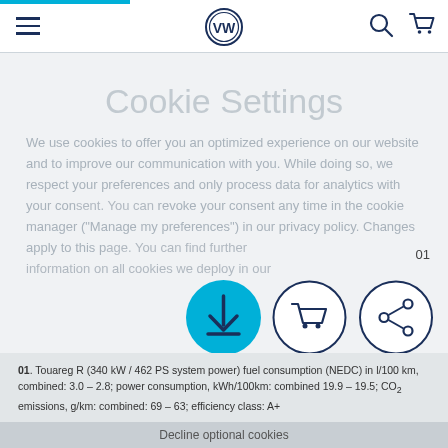VW website navigation bar with hamburger menu, VW logo, search icon, and cart icon
Cookie Settings
We use cookies to offer you an optimized experience on our website and to improve our communication with you. While doing so, we respect your preferences and only process data for analytics with your consent. You can revoke your consent any time in the cookie manager ("Manage my preferences") in our privacy policy. Changes apply to this page. You can find further information on all cookies we deploy in our
Image No: DB2020AU01646
Copyright: Volkswagen AG
Rights: Use for editorial purposes free of charge
01. Touareg R (340 kW / 462 PS system power) fuel consumption (NEDC) in l/100 km, combined: 3.0 – 2.8; power consumption, kWh/100km: combined 19.9 – 19.5; CO₂ emissions, g/km: combined: 69 – 63; efficiency class: A+